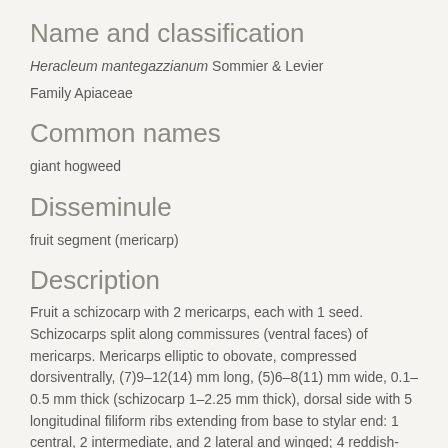Name and classification
Heracleum mantegazzianum Sommier & Levier
Family Apiaceae
Common names
giant hogweed
Disseminule
fruit segment (mericarp)
Description
Fruit a schizocarp with 2 mericarps, each with 1 seed. Schizocarps split along commissures (ventral faces) of mericarps. Mericarps elliptic to obovate, compressed dorsiventrally, (7)9–12(14) mm long, (5)6–8(11) mm wide, 0.1–0.5 mm thick (schizocarp 1–2.25 mm thick), dorsal side with 5 longitudinal filiform ribs extending from base to stylar end: 1 central, 2 intermediate, and 2 lateral and winged; 4 reddish-brown vittae (oil glands) between the ribs, ca. three-quarters